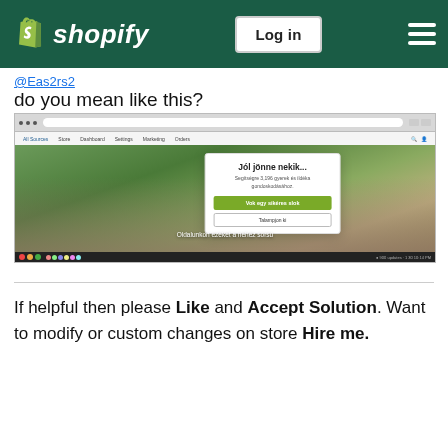Shopify — Log in
@Eas2rs2
do you mean like this?
[Figure (screenshot): Screenshot of a Shopify store with a popup modal showing 'Jól jönne nekik...' with a green CTA button, overlaid on a photo of people from behind in a garden setting. Browser chrome visible at top and taskbar at bottom.]
If helpful then please Like and Accept Solution. Want to modify or custom changes on store Hire me.